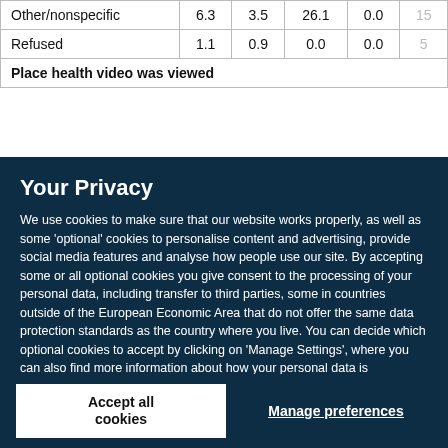| Other/nonspecific | 6.3 | 3.5 | 26.1 | 0.0 | 15 |
| Refused | 1.1 | 0.9 | 0.0 | 0.0 | 5 |
| Place health video was viewed |  |  |  |  |  |
Your Privacy
We use cookies to make sure that our website works properly, as well as some 'optional' cookies to personalise content and advertising, provide social media features and analyse how people use our site. By accepting some or all optional cookies you give consent to the processing of your personal data, including transfer to third parties, some in countries outside of the European Economic Area that do not offer the same data protection standards as the country where you live. You can decide which optional cookies to accept by clicking on 'Manage Settings', where you can also find more information about how your personal data is processed. Further information can be found in our privacy policy.
Accept all cookies
Manage preferences